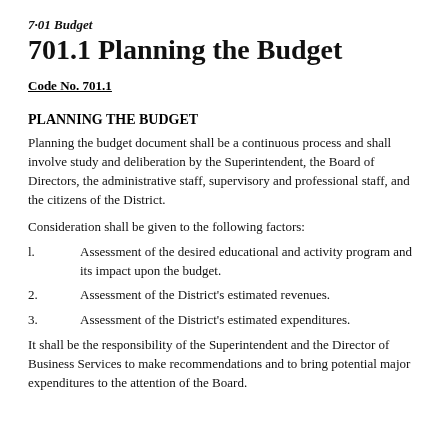701.1 Planning the Budget
Code No. 701.1
PLANNING THE BUDGET
Planning the budget document shall be a continuous process and shall involve study and deliberation by the Superintendent, the Board of Directors, the administrative staff, supervisory and professional staff, and the citizens of the District.
Consideration shall be given to the following factors:
l.        Assessment of the desired educational and activity program and its impact upon the budget.
2.        Assessment of the District's estimated revenues.
3.        Assessment of the District's estimated expenditures.
It shall be the responsibility of the Superintendent and the Director of Business Services to make recommendations and to bring potential major expenditures to the attention of the Board.